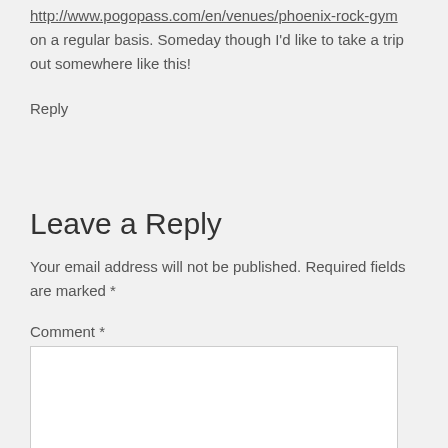http://www.pogopass.com/en/venues/phoenix-rock-gym on a regular basis. Someday though I'd like to take a trip out somewhere like this!
Reply
Leave a Reply
Your email address will not be published. Required fields are marked *
Comment *